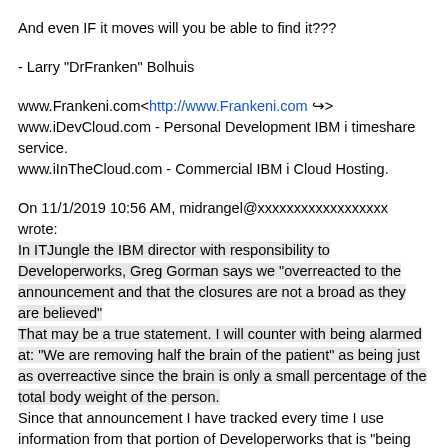And even IF it moves will you be able to find it???
- Larry "DrFranken" Bolhuis
www.Frankeni.com<http://www.Frankeni.com> www.iDevCloud.com - Personal Development IBM i timeshare service. www.iInTheCloud.com - Commercial IBM i Cloud Hosting.
On 11/1/2019 10:56 AM, midrangel@xxxxxxxxxxxxxxxxxx wrote: In ITJungle the IBM director with responsibility to Developerworks, Greg Gorman says we "overreacted to the announcement and that the closures are not a broad as they are believed" That may be a true statement. I will counter with being alarmed at: "We are removing half the brain of the patient" as being just as overreactive since the brain is only a small percentage of the total body weight of the person. Since that announcement I have tracked every time I use information from that portion of Developerworks that is "being sunsetted" and it's nearly 98% of the time. Mr. Gorman is clearly not informed of the criticality of the information contained in that portion of the site, and clearly does not care. IBM documentation is good. Everything is in